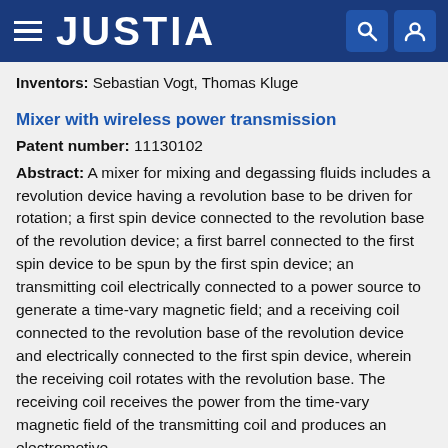JUSTIA
Inventors: Sebastian Vogt, Thomas Kluge
Mixer with wireless power transmission
Patent number: 11130102
Abstract: A mixer for mixing and degassing fluids includes a revolution device having a revolution base to be driven for rotation; a first spin device connected to the revolution base of the revolution device; a first barrel connected to the first spin device to be spun by the first spin device; an transmitting coil electrically connected to a power source to generate a time-vary magnetic field; and a receiving coil connected to the revolution base of the revolution device and electrically connected to the first spin device, wherein the receiving coil rotates with the revolution base. The receiving coil receives the power from the time-vary magnetic field of the transmitting coil and produces an electromotive